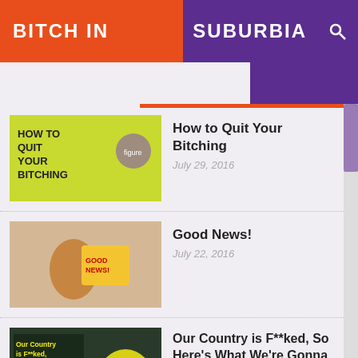BITCH IN SUBURBIA
How to Quit Your Bitching — July 29, 2016
Good News! — July 22, 2016
Our Country is F**ked, So Here's What We're Gonna Do — July 15, 2016
How to Get a Bikini Body — July 8, 2016
How to Declare Your Independence Without Screwing Everyone Else